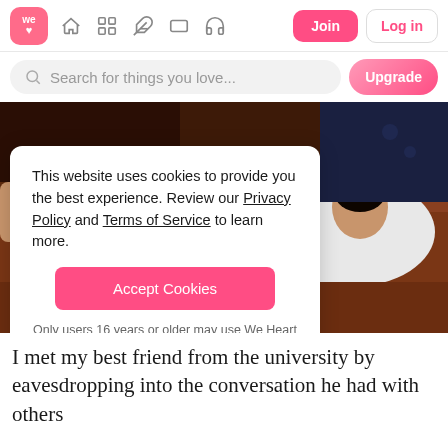We Heart It navigation bar with logo, icons, Join and Log in buttons
Search for things you love...
[Figure (photo): Two young people lying on a brown leather couch, one in a dark tracksuit and one in a white hoodie, looking at the camera]
This website uses cookies to provide you the best experience. Review our Privacy Policy and Terms of Service to learn more.

Accept Cookies

Only users 16 years or older may use We Heart It.
I met my best friend from the university by eavesdropping into the conversation he had with others